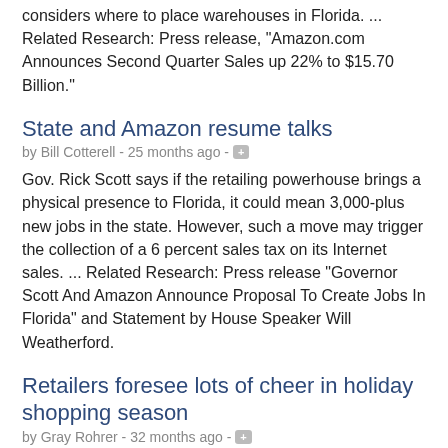considers where to place warehouses in Florida. ... Related Research: Press release, "Amazon.com Announces Second Quarter Sales up 22% to $15.70 Billion."
State and Amazon resume talks
by Bill Cotterell - 25 months ago -
Gov. Rick Scott says if the retailing powerhouse brings a physical presence to Florida, it could mean 3,000-plus new jobs in the state. However, such a move may trigger the collection of a 6 percent sales tax on its Internet sales. ... Related Research: Press release "Governor Scott And Amazon Announce Proposal To Create Jobs In Florida" and Statement by House Speaker Will Weatherford.
Retailers foresee lots of cheer in holiday shopping season
by Gray Rohrer - 32 months ago -
The Florida Retail Federation predicts $58 billion in sales this holiday season, up 5.2 percent from 2011. ... Related Research: Nov. 15, 2012 Forecast from the Florida Retail Federation: The "12 Holiday Trends for Christmas."
2012 Session Outlook: Budget & Taxes